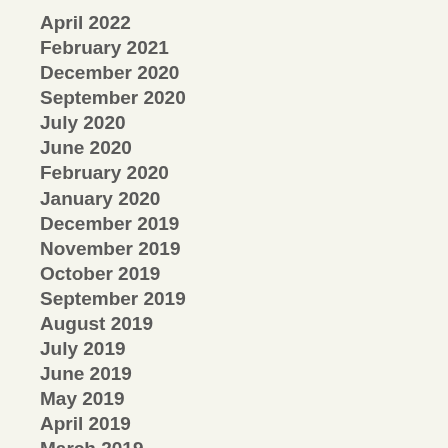April 2022
February 2021
December 2020
September 2020
July 2020
June 2020
February 2020
January 2020
December 2019
November 2019
October 2019
September 2019
August 2019
July 2019
June 2019
May 2019
April 2019
March 2019
February 2019
January 2019
December 2018